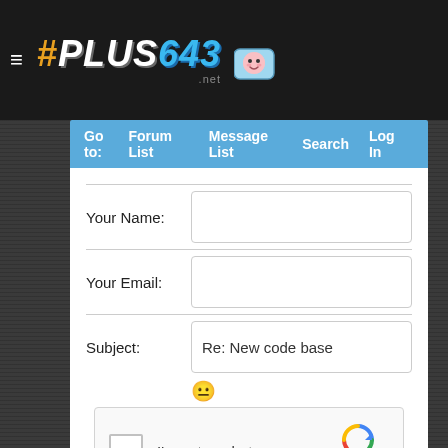#PLUS643.net
[Figure (logo): Cartoon character icon next to #PLUS643 logo]
Go to:  Forum List  Message List  Search  Log In
Your Name:
Your Email:
Subject:  Re: New code base
[Figure (other): Smiley emoji icon]
[Figure (other): reCAPTCHA widget — checkbox 'I'm not a robot' with reCAPTCHA logo, Privacy · Terms]
Message:
[Figure (other): Rich text editor toolbar with formatting buttons: B, I, U, strikethrough, remove format, superscript, font, size, link, image, paste, align, list, blockquote, help]